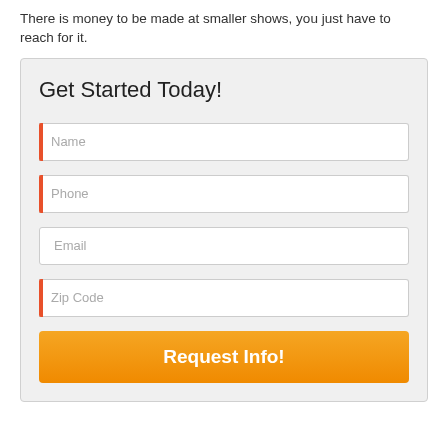There is money to be made at smaller shows, you just have to reach for it.
Get Started Today!
[Figure (other): Web form with fields for Name, Phone, Email, Zip Code, and a Request Info! submit button on a light gray background]
Request Info!